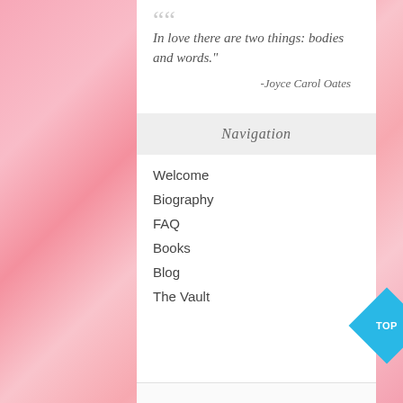“In love there are two things: bodies and words.”
-Joyce Carol Oates
Navigation
Welcome
Biography
FAQ
Books
Blog
The Vault